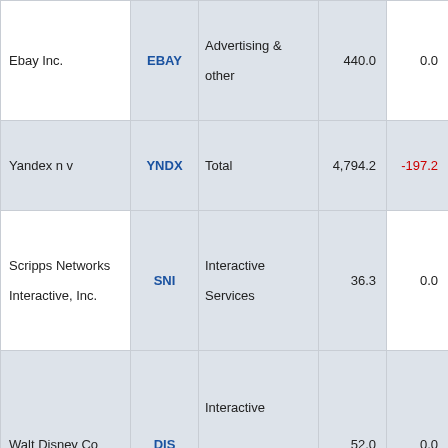| Company | Ticker | Segment | Value1 | Value2 | Value3 |
| --- | --- | --- | --- | --- | --- |
| Ebay Inc. | EBAY | Advertising & other | 440.0 | 0.0 | - |
| Yandex n v | YNDX | Total | 4,794.2 | -197.2 | - |
| Scripps Networks Interactive, Inc. | SNI | Interactive Services | 36.3 | 0.0 | - |
| Walt Disney Co | DIS | Interactive Media Advertising | 52.0 | 0.0 | - |
|  |  | Advertising |  |  |  |